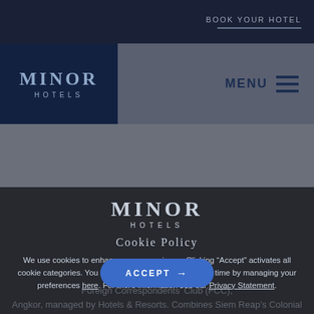BOOK YOUR HOTEL
MINOR HOTELS
MENU
[Figure (logo): Minor Hotels logo in white/light blue on dark background, center of cookie policy overlay]
Cookie Policy
We use cookies to enhance your experience. Clicking “Accept” activates all cookie categories. You can revoke your consent at any time by managing your preferences here. For more information see our Privacy Statement.
Foreign Correspondents' Club (FCC), Angkor, managed by Hotels & Resorts. Combines Siem Reap's Colonial